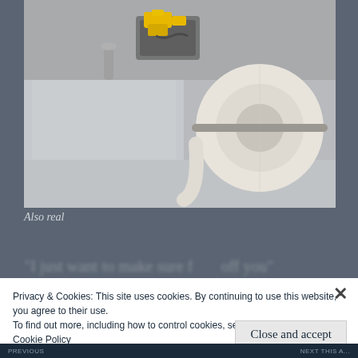[Figure (photo): A bathroom sink with a roll of toilet paper resting on the edge, and a small yellow and black toy/tool resting on a gray cloth near the faucet area.]
Also real
“I just want to make sure f off you”
Privacy & Cookies: This site uses cookies. By continuing to use this website, you agree to their use.
To find out more, including how to control cookies, see here:
Cookie Policy
Close and accept